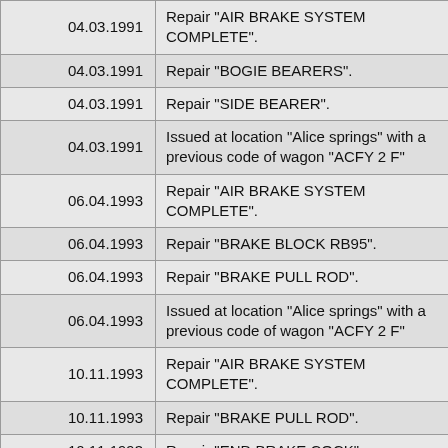| Date | Description |
| --- | --- |
| 04.03.1991 | Repair "AIR BRAKE SYSTEM COMPLETE". |
| 04.03.1991 | Repair "BOGIE BEARERS". |
| 04.03.1991 | Repair "SIDE BEARER". |
| 04.03.1991 | Issued at location "Alice springs" with a previous code of wagon "ACFY 2 F" |
| 06.04.1993 | Repair "AIR BRAKE SYSTEM COMPLETE". |
| 06.04.1993 | Repair "BRAKE BLOCK RB95". |
| 06.04.1993 | Repair "BRAKE PULL ROD". |
| 06.04.1993 | Issued at location "Alice springs" with a previous code of wagon "ACFY 2 F" |
| 10.11.1993 | Repair "AIR BRAKE SYSTEM COMPLETE". |
| 10.11.1993 | Repair "BRAKE PULL ROD". |
| 10.11.1993 | Repair "END BRAKE COCK". |
| 10.11.1993 | Repair "OTHER BRAKE CYLINDER COMPLETE". |
| 10.11.1993 | Issued at location "Alice springs" with... |